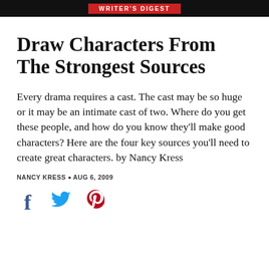WRITER'S DIGEST
Draw Characters From The Strongest Sources
Every drama requires a cast. The cast may be so huge or it may be an intimate cast of two. Where do you get these people, and how do you know they'll make good characters? Here are the four key sources you'll need to create great characters. by Nancy Kress
NANCY KRESS • AUG 6, 2009
[Figure (other): Social sharing icons: Facebook (f), Twitter (bird), Pinterest (p)]